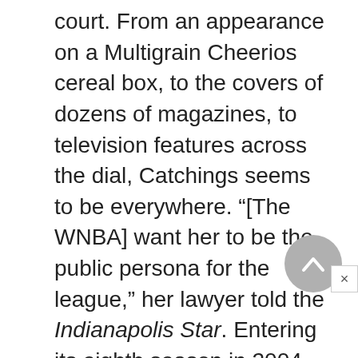court. From an appearance on a Multigrain Cheerios cereal box, to the covers of dozens of magazines, to television features across the dial, Catchings seems to be everywhere. “[The WNBA] want her to be the public persona for the league,” her lawyer told the Indianapolis Star. Entering its eighth season in 2004, the WNBA remained a burgeoning entity, still looking for a fan base and wider recognition. Players like Catchings are proving crucial in the efforts to achieve